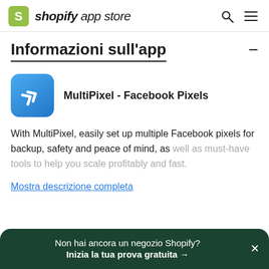shopify app store
Informazioni sull'app
[Figure (logo): MultiPixel app icon — blue rounded square with double angle-bracket chevron logo]
MultiPixel - Facebook Pixels
With MultiPixel, easily set up multiple Facebook pixels for backup, safety and peace of mind, as well as must-have tools to help you scale profitably and fast.
Mostra descrizione completa
Non hai ancora un negozio Shopify?
Inizia la tua prova gratuita →